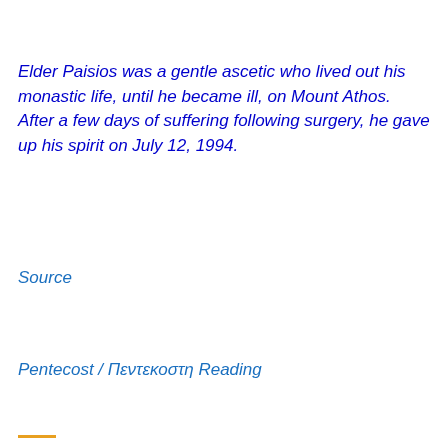Elder Paisios was a gentle ascetic who lived out his monastic life, until he became ill, on Mount Athos. After a few days of suffering following surgery, he gave up his spirit on July 12, 1994.
Source
Pentecost / Πεντεκοστη Reading